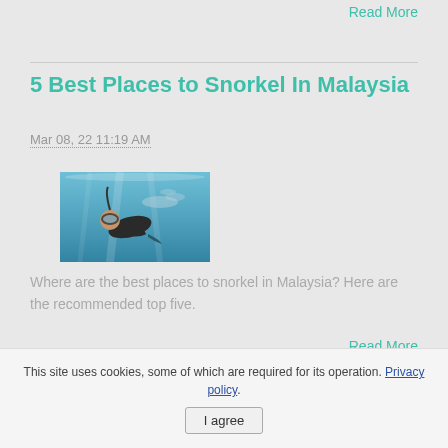Read More
5 Best Places to Snorkel In Malaysia
Mar 08, 22 11:19 AM
[Figure (photo): Underwater photo of a snorkeler with fish in the background, teal/blue water]
Where are the best places to snorkel in Malaysia? Here are the recommended top five.
Read More
This site uses cookies, some of which are required for its operation. Privacy policy. I agree